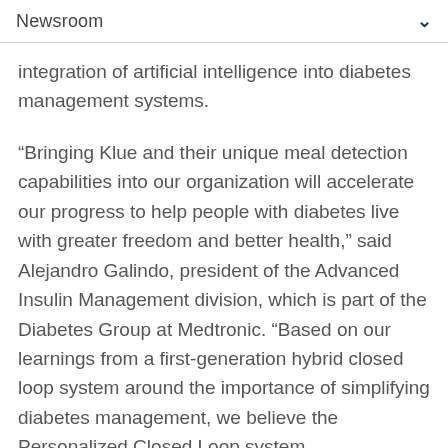Newsroom
integration of artificial intelligence into diabetes management systems.
“Bringing Klue and their unique meal detection capabilities into our organization will accelerate our progress to help people with diabetes live with greater freedom and better health,” said Alejandro Galindo, president of the Advanced Insulin Management division, which is part of the Diabetes Group at Medtronic. “Based on our learnings from a first-generation hybrid closed loop system around the importance of simplifying diabetes management, we believe the Personalized Closed Loop system